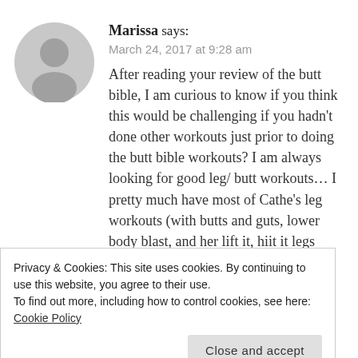[Figure (illustration): Gray circular avatar/profile placeholder icon]
Marissa says:
March 24, 2017 at 9:28 am
After reading your review of the butt bible, I am curious to know if you think this would be challenging if you hadn't done other workouts just prior to doing the butt bible workouts? I am always looking for good leg/ butt workouts… I pretty much have most of Cathe's leg workouts (with butts and guts, lower body blast, and her lift it, hiit it legs being my favorite) and I
Privacy & Cookies: This site uses cookies. By continuing to use this website, you agree to their use.
To find out more, including how to control cookies, see here: Cookie Policy
Close and accept
offers anything different or better than